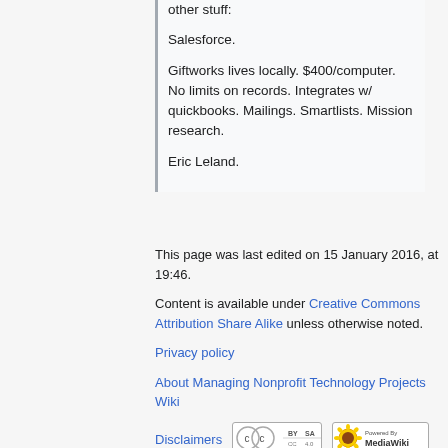other stuff: Salesforce. Giftworks lives locally. $400/computer. No limits on records. Integrates w/ quickbooks. Mailings. Smartlists. Mission research. Eric Leland.
This page was last edited on 15 January 2016, at 19:46.
Content is available under Creative Commons Attribution Share Alike unless otherwise noted.
Privacy policy
About Managing Nonprofit Technology Projects Wiki
Disclaimers